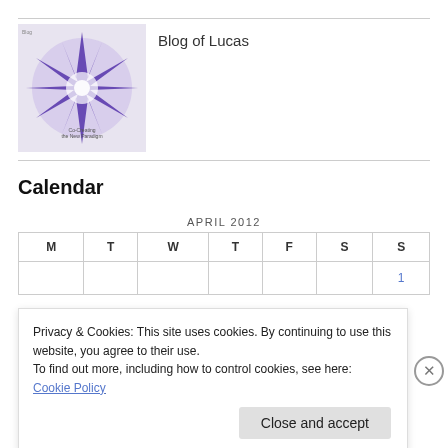[Figure (illustration): Blog logo image with purple fractal/star shape on light background with text 'Blog of Lucas' and 'Co-Creating the New Paradigm']
Blog of Lucas
Calendar
| M | T | W | T | F | S | S |
| --- | --- | --- | --- | --- | --- | --- |
|  |  |  |  |  |  | 1 |
Privacy & Cookies: This site uses cookies. By continuing to use this website, you agree to their use.
To find out more, including how to control cookies, see here: Cookie Policy
Close and accept